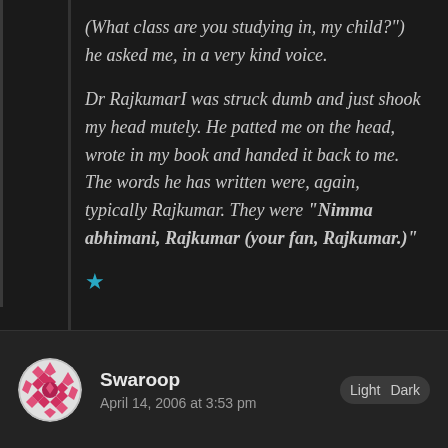(What class are you studying in, my child?") he asked me, in a very kind voice.
Dr RajkumarI was struck dumb and just shook my head mutely. He patted me on the head, wrote in my book and handed it back to me. The words he has written were, again, typically Rajkumar. They were “Nimma abhimani, Rajkumar (your fan, Rajkumar.)”
★
Swaroop
April 14, 2006 at 3:53 pm